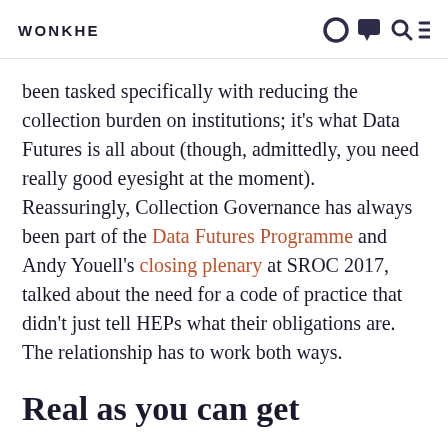WONKHE
been tasked specifically with reducing the collection burden on institutions; it’s what Data Futures is all about (though, admittedly, you need really good eyesight at the moment). Reassuringly, Collection Governance has always been part of the Data Futures Programme and Andy Youell’s closing plenary at SROC 2017, talked about the need for a code of practice that didn’t just tell HEPs what their obligations are. The relationship has to work both ways.
Real as you can get